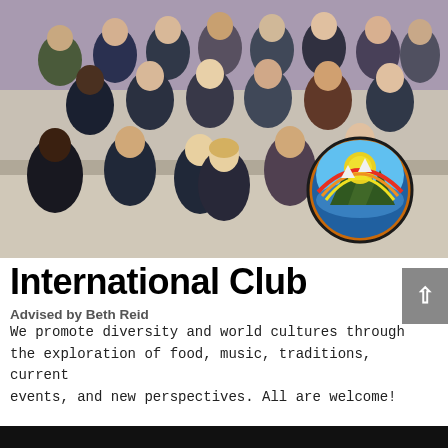[Figure (photo): Group photo of International Club students and advisor in a classroom setting, with a circular club logo (mountain/landscape scene) overlaid in the lower right of the photo]
International Club
Advised by Beth Reid
We promote diversity and world cultures through the exploration of food, music, traditions, current events, and new perspectives. All are welcome!
[Figure (photo): Bottom black bar / partial image area]